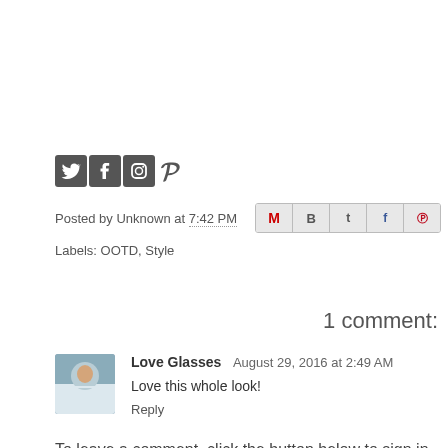[Figure (other): Social media share icons: Twitter, Facebook, Instagram, Pinterest]
Posted by Unknown at 7:42 PM
Labels: OOTD, Style
1 comment:
Love Glasses  August 29, 2016 at 2:49 AM
Love this whole look!
Reply
To leave a comment, click the button below to sign in wi